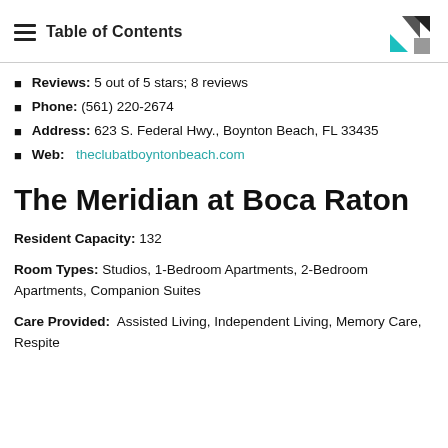Table of Contents
Reviews: 5 out of 5 stars; 8 reviews
Phone: (561) 220-2674
Address: 623 S. Federal Hwy., Boynton Beach, FL 33435
Web: theclubatboyntonbeach.com
The Meridian at Boca Raton
Resident Capacity: 132
Room Types: Studios, 1-Bedroom Apartments, 2-Bedroom Apartments, Companion Suites
Care Provided: Assisted Living, Independent Living, Memory Care, Respite